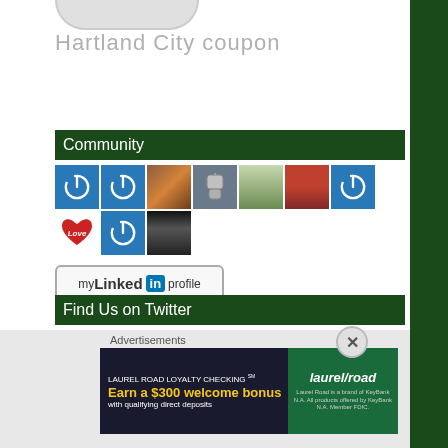[Figure (screenshot): Partial top element - rounded bottom shape visible at top of page]
Hartland City coupon
Community
[Figure (photo): Row of community member avatars - blue power icons, food photo, dog tags, man with glasses, man with red background, another blue power icon; second row: heart with Love text, blue power icon, black and white woman photo]
[Figure (logo): my LinkedIn profile button]
Find Us on Twitter
My Tweets
Admin
Advertisements
[Figure (screenshot): Laurel Road Loyalty Checking advertisement - Earn a $300 welcome bonus with qualifying direct deposits. Laurel Road is a brand of KeyBank N.A. All products offered by KeyBank N.A. Member FDIC.]